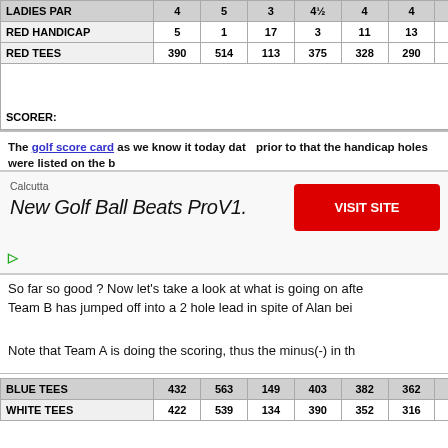|  | 1 | 2 | 3 | 4 | 5 | 6 | 7 | 8 | 9 | OUT |  | 10 | ... |
| --- | --- | --- | --- | --- | --- | --- | --- | --- | --- | --- | --- | --- | --- |
| LADIES PAR | 4 | 5 | 3 | 4½ | 4 | 4 | 5 | 3 | 4 | 36 |  | 4 | ... |
| RED HANDICAP | 5 | 1 | 17 | 3 | 11 | 13 | 9 | 15 | 7 |  |  | 12 | 4 |
| RED TEES | 390 | 514 | 113 | 375 | 328 | 290 | 447 | 124 | 329 | 2910 |  | 276 | 39 |
SCORER:
ATTEST:
The golf score card as we know it today dat... prior to that the handicap holes were listed on the b...
[Figure (other): Advertisement banner: Calcutta - New Golf Ball Beats ProV1. with red VISIT SITE button]
So far so good ? Now let's take a look at what is going on afte... Team B has jumped off into a 2 hole lead in spite of Alan bei...
Note that Team A is doing the scoring, thus the minus(-) in th...
| BLUE TEES | 432 | 563 | 149 | 403 | 382 | 362 | 531 | 200 | 366 | 3388 |  | 325 | 4... |
| --- | --- | --- | --- | --- | --- | --- | --- | --- | --- | --- | --- | --- | --- |
| WHITE TEES | 422 | 539 | 134 | 390 | 352 | 316 | 475 | 149 | 343 | 3120 |  | 304 | 4... |